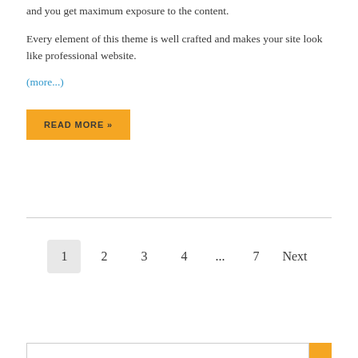and you get maximum exposure to the content.
Every element of this theme is well crafted and makes your site look like professional website.
(more...)
READ MORE »
1  2  3  4  ...  7  Next